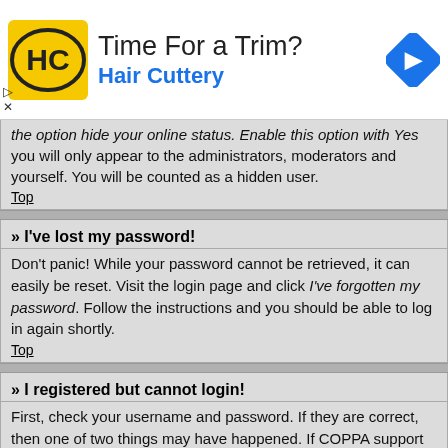[Figure (infographic): Hair Cuttery advertisement banner with logo, title 'Time For a Trim?', subtitle 'Hair Cuttery', and navigation icon]
the option hide your online status. Enable this option with Yes you will only appear to the administrators, moderators and yourself. You will be counted as a hidden user.
Top
» I've lost my password!
Don't panic! While your password cannot be retrieved, it can easily be reset. Visit the login page and click I've forgotten my password. Follow the instructions and you should be able to log in again shortly.
Top
» I registered but cannot login!
First, check your username and password. If they are correct, then one of two things may have happened. If COPPA support is enabled and you specified being under 13 years old during registration, you will have to follow the instructions you received. Some boards will also require new registrations to be activated, either by yourself or by an administrator before you can logon; this information was present during registration. If you were sent an e-mail, follow the instructions. If you did not receive an e-mail, you may have provided an incorrect e-mail address or the e-mail may